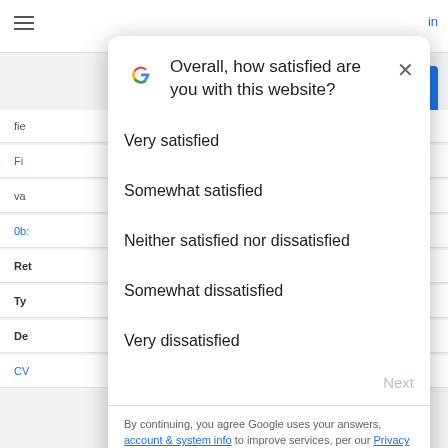[Figure (screenshot): Blurred background showing a Google-style webpage with hamburger menu, sign-in link, blue button, and table rows with field/value data.]
Overall, how satisfied are you with this website?
Very satisfied
Somewhat satisfied
Neither satisfied nor dissatisfied
Somewhat dissatisfied
Very dissatisfied
Next
By continuing, you agree Google uses your answers, account & system info to improve services, per our Privacy & Terms.